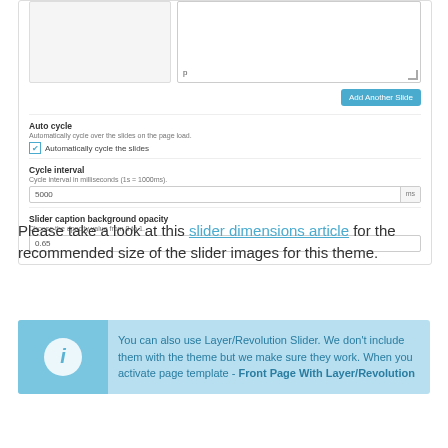[Figure (screenshot): WordPress admin UI screenshot showing slider settings: Auto cycle checkbox, Cycle interval field with value 5000ms, and Slider caption background opacity field with value 0.65. An 'Add Another Slide' button is visible.]
Please take a look at this slider dimensions article for the recommended size of the slider images for this theme.
You can also use Layer/Revolution Slider. We don't include them with the theme but we make sure they work. When you activate page template - Front Page With Layer/Revolution